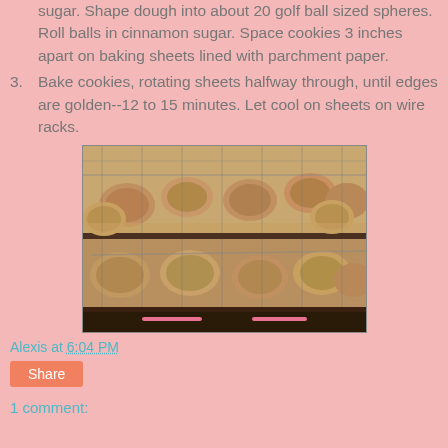sugar. Shape dough into about 20 golf ball sized spheres. Roll balls in cinnamon sugar. Space cookies 3 inches apart on baking sheets lined with parchment paper.
3. Bake cookies, rotating sheets halfway through, until edges are golden--12 to 15 minutes. Let cool on sheets on wire racks.
[Figure (photo): Photo of cookies baking in an oven on two wire rack shelves, showing golden-brown cookies on baking sheets viewed from the front of the open oven.]
Alexis at 6:04 PM
Share
1 comment: